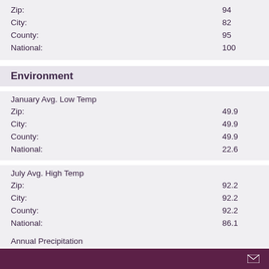| Zip: | 94 |
| City: | 82 |
| County: | 95 |
| National: | 100 |
Environment
| January Avg. Low Temp |
| --- |
| Zip: | 49.9 |
| City: | 49.9 |
| County: | 49.9 |
| National: | 22.6 |
| July Avg. High Temp |
| --- |
| Zip: | 92.2 |
| City: | 92.2 |
| County: | 92.2 |
| National: | 86.1 |
Annual Precipitation